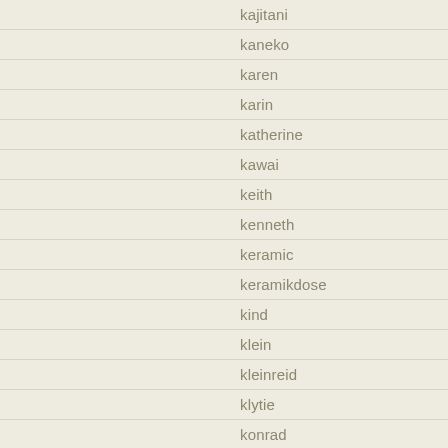kajitani
kaneko
karen
karin
katherine
kawai
keith
kenneth
keramic
keramikdose
kind
klein
kleinreid
klytie
konrad
korean